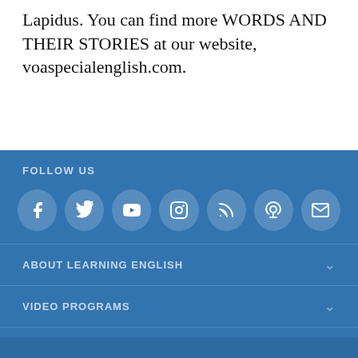Lapidus. You can find more WORDS AND THEIR STORIES at our website, voaspecialenglish.com.
FOLLOW US
[Figure (infographic): Row of 7 social media icon circles (Facebook, Twitter, YouTube, Instagram, RSS, Podcast, Email) on blue background]
ABOUT LEARNING ENGLISH
VIDEO PROGRAMS
AUDIO PROGRAMS